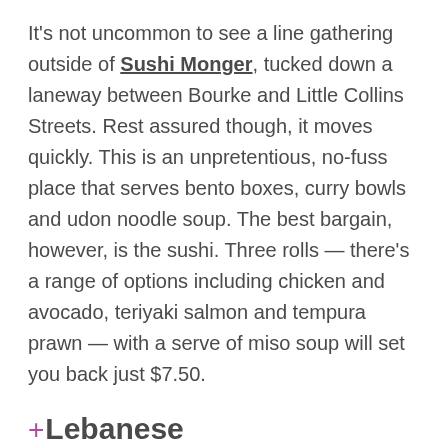It's not uncommon to see a line gathering outside of Sushi Monger, tucked down a laneway between Bourke and Little Collins Streets. Rest assured though, it moves quickly. This is an unpretentious, no-fuss place that serves bento boxes, curry bowls and udon noodle soup. The best bargain, however, is the sushi. Three rolls — there's a range of options including chicken and avocado, teriyaki salmon and tempura prawn — with a serve of miso soup will set you back just $7.50.
+ Lebanese
If you love Lebanese food or are keen to try it